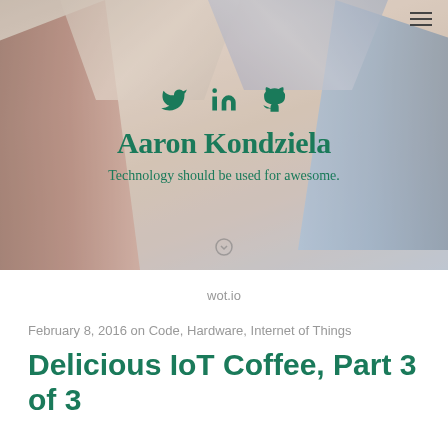[Figure (photo): Hero header image with skyscraper buildings seen from below, overlaid with social icons (Twitter, LinkedIn, GitHub), the name 'Aaron Kondziela', and tagline 'Technology should be used for awesome.' Dark teal/green text on blurred building background.]
wot.io
February 8, 2016 on Code, Hardware, Internet of Things
Delicious IoT Coffee, Part 3 of 3